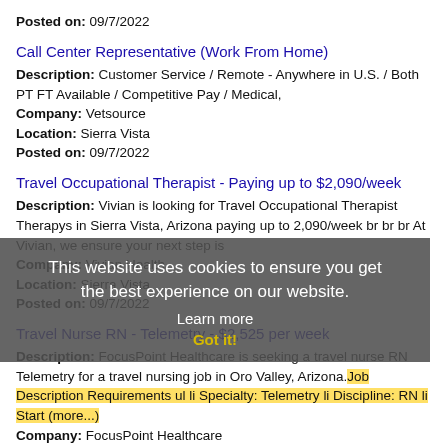Posted on: 09/7/2022
Call Center Representative (Work From Home)
Description: Customer Service / Remote - Anywhere in U.S. / Both PT FT Available / Competitive Pay / Medical,
Company: Vetsource
Location: Sierra Vista
Posted on: 09/7/2022
Travel Occupational Therapist - Paying up to $2,090/week
Description: Vivian is looking for Travel Occupational Therapist Therapys in Sierra Vista, Arizona paying up to 2,090/week br br br At Vivian, we ensure your next step is
Company: Vivian Health
Location: Sierra Vista
Posted on: 09/7/2022
Travel Nurse RN - Telemetry - $2,525 per week
Description: FocusPoint Healthcare is seeking a travel nurse RN Telemetry for a travel nursing job in Oro Valley, Arizona. Job Description Requirements ul li Specialty: Telemetry li Discipline: RN li Start (more...)
Company: FocusPoint Healthcare
Location: Oro Valley